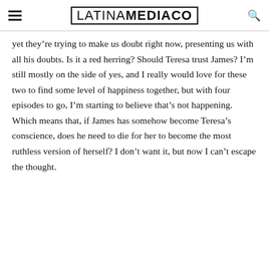LATINAMEDIACO
yet they’re trying to make us doubt right now, presenting us with all his doubts. Is it a red herring? Should Teresa trust James? I’m still mostly on the side of yes, and I really would love for these two to find some level of happiness together, but with four episodes to go, I’m starting to believe that’s not happening. Which means that, if James has somehow become Teresa’s conscience, does he need to die for her to become the most ruthless version of herself? I don’t want it, but now I can’t escape the thought.